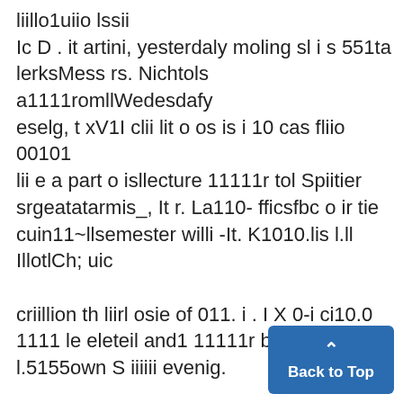liillo1uiio lssii
Ic D . it artini, yesterdaly moling sl i s 551ta lerksMess rs. Nichtols a1111romllWedesdafy eselg, t xV1I clii lit o os is i 10 cas fliio 00101 lii e a part o isllecture 11111r tol Spiitier srgeatatarmis_, It r. La110- fficsfbc o ir tie cuin11~llsemester willi -It. K1010.lis l.ll IllotlCh; uic
criillion th liirl osie of 011. i . I X 0-i ci10.0 1111 le eleteil and1 11111r busiess f i l.5155own S iiiiii evenig.
wiigon h 'ad o e ftie sn r.C icks wasupani-importanceetrassac telll --- mistakes in llin11 g foundiliin s